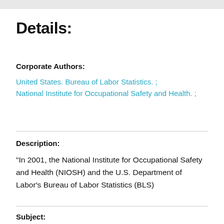Details:
Corporate Authors:
United States. Bureau of Labor Statistics. ; National Institute for Occupational Safety and Health. ;
Description:
"In 2001, the National Institute for Occupational Safety and Health (NIOSH) and the U.S. Department of Labor's Bureau of Labor Statistics (BLS)
Subject: